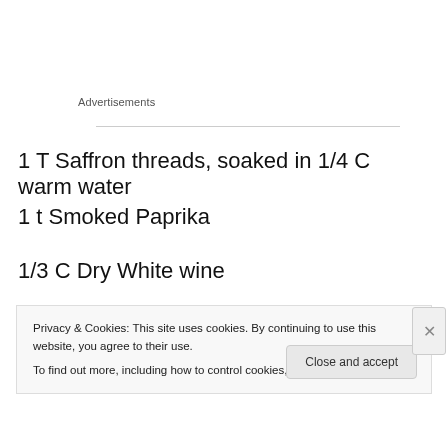Advertisements
1 T Saffron threads, soaked in 1/4 C warm water
1 t Smoked Paprika
1/3 C Dry White wine
3/4 lb  Orzo
Privacy & Cookies: This site uses cookies. By continuing to use this website, you agree to their use.
To find out more, including how to control cookies, see here: Cookie Policy